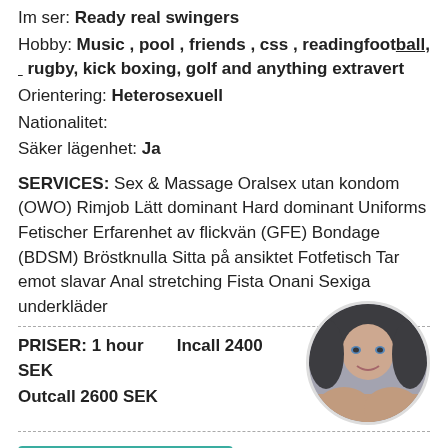Im ser: Ready real swingers
Hobby: Music , pool , friends , css , readingfootball, rugby, kick boxing, golf and anything extravert
Orientering: Heterosexuell
Nationalitet:
Säker lägenhet: Ja
SERVICES: Sex & Massage Oralsex utan kondom (OWO) Rimjob Lätt dominant Hard dominant Uniforms Fetischer Erfarenhet av flickvän (GFE) Bondage (BDSM) Bröstknulla Sitta på ansiktet Fotfetisch Tar emot slavar Anal stretching Fista Onani Sexiga underkläder
PRISER: 1 hour   Incall 2400 SEK   Outcall 2600 SEK
[Figure (photo): Circular profile photo of a woman]
Prioritetsannons